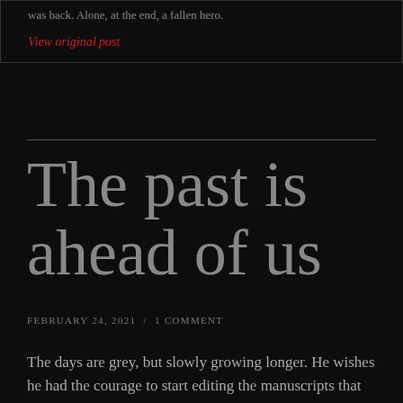was back. Alone, at the end, a fallen hero.
View original post
The past is ahead of us
FEBRUARY 24, 2021  /  1 COMMENT
The days are grey, but slowly growing longer. He wishes he had the courage to start editing the manuscripts that lay dormant on his hard drive